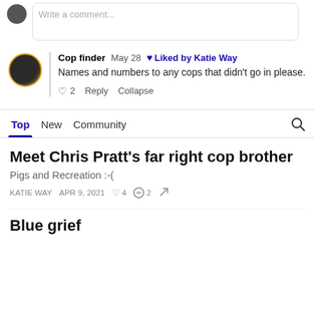[Figure (other): Comment input box with small avatar]
Cop finder  May 28  ♥ Liked by Katie Way
Names and numbers to any cops that didn't go in please.
♡ 2  Reply  Collapse
Top  New  Community
Meet Chris Pratt's far right cop brother
Pigs and Recreation :-(
KATIE WAY  APR 9, 2021  ♡ 4  ○ 2  ↗
Blue grief